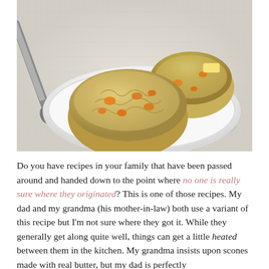[Figure (photo): Photo of golden baked scones with chunks of orange cheddar cheese on a white plate with a dotted rim, with a knife visible on the left side and a pat of butter on one scone. Set on a white linen background.]
Do you have recipes in your family that have been passed around and handed down to the point where no one is really sure where they originated? This is one of those recipes. My dad and my grandma (his mother-in-law) both use a variant of this recipe but I'm not sure where they got it. While they generally get along quite well, things can get a little heated between them in the kitchen. My grandma insists upon scones made with real butter, but my dad is perfectly